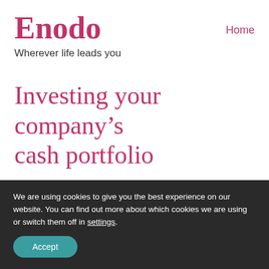Enodo
Wherever life leads you
Home
Investing your company’s cash portfolio
We are using cookies to give you the best experience on our website. You can find out more about which cookies we are using or switch them off in settings.
Accept